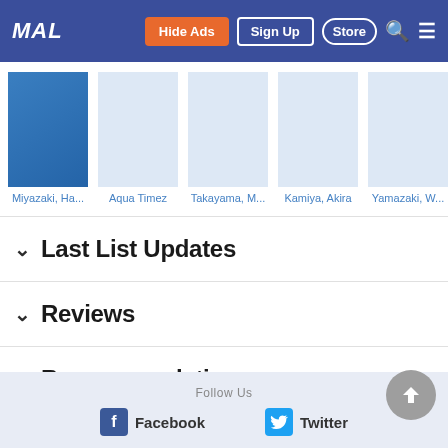MAL | Hide Ads | Sign Up | Store | Search | Menu
[Figure (other): Horizontal scrollable strip of favorite artists/characters thumbnails: Miyazaki, Ha..., Aqua Timez, Takayama, M..., Kamiya, Akira, Yamazaki, W...]
Last List Updates
Reviews
Recommendations
Comments
Follow Us | Facebook | Twitter